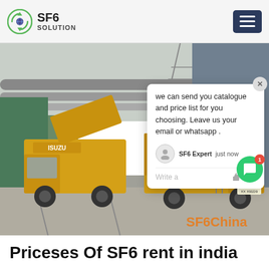SF6 SOLUTION
[Figure (photo): Two yellow Isuzu trucks at an industrial site with large pipes overhead. One truck has an open cargo area with equipment. An SF6 service unit is visible. Watermark reads SF6China.]
we can send you catalogue and price list for you choosing. Leave us your email or whatsapp .
SF6 Expert   just now
Write a
Priceses Of SF6 rent in india